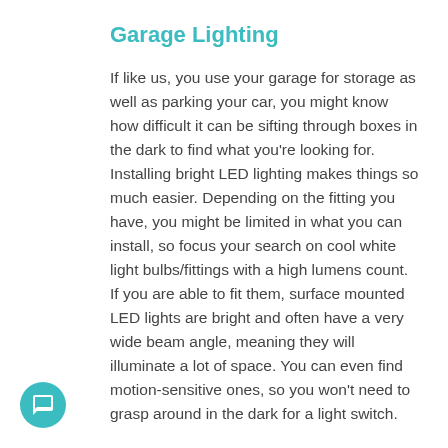Garage Lighting
If like us, you use your garage for storage as well as parking your car, you might know how difficult it can be sifting through boxes in the dark to find what you're looking for. Installing bright LED lighting makes things so much easier. Depending on the fitting you have, you might be limited in what you can install, so focus your search on cool white light bulbs/fittings with a high lumens count. If you are able to fit them, surface mounted LED lights are bright and often have a very wide beam angle, meaning they will illuminate a lot of space. You can even find motion-sensitive ones, so you won't need to grasp around in the dark for a light switch.